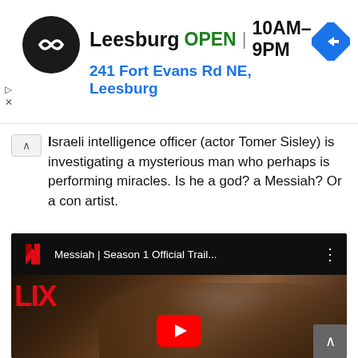[Figure (screenshot): Google Maps ad banner showing Leesburg store location: logo (black circle with infinity-like symbol), business name 'Leesburg', status 'OPEN', hours '10AM–9PM', address '241 Fort Evans Rd NE, Leesburg', and a blue navigation arrow icon]
Israeli intelligence officer (actor Tomer Sisley) is investigating a mysterious man who perhaps is performing miracles. Is he a god? a Messiah? Or a con artist.
[Figure (screenshot): YouTube video embed with Netflix branding showing 'Messiah | Season 1 Official Trail...' with a thumbnail of a bearded man with long dark hair, FLIX text in red on left, and a YouTube play button in the center bottom]